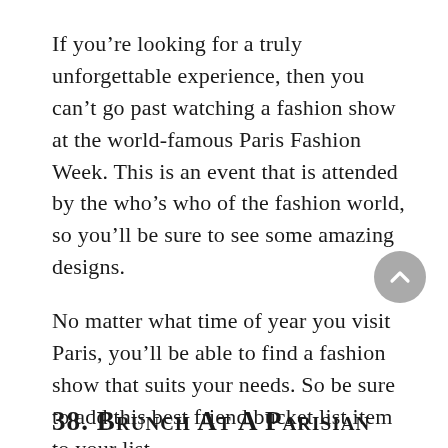If you’re looking for a truly unforgettable experience, then you can’t go past watching a fashion show at the world-famous Paris Fashion Week. This is an event that is attended by the who’s who of the fashion world, so you’ll be sure to see some amazing designs.
No matter what time of year you visit Paris, you’ll be able to find a fashion show that suits your needs. So be sure to add this best friend bucket list item to your list.
38. Brunch At A Parisian